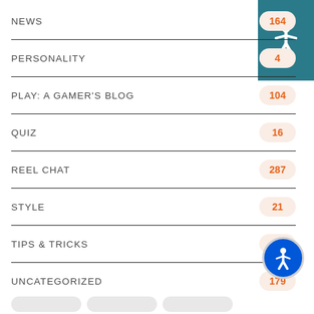NEWS  164
PERSONALITY  4
PLAY: A GAMER'S BLOG  104
QUIZ  16
REEL CHAT  287
STYLE  21
TIPS & TRICKS  46
UNCATEGORIZED  179